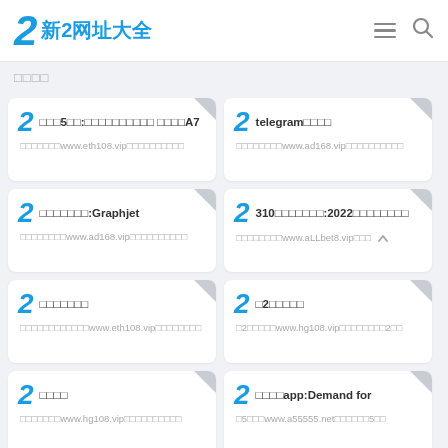2 新2网址大全
□□□□
□□□5□□:□□□□□□□□□□ □□□□A7
telegram□□□□
□□□□□□□:Graphjet
310□□□□□□□:2022□□□□□□□□
□□□□□□□
□2□□□□□
□□□□
□□□□app:Demand for